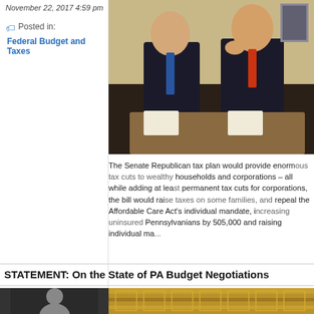November 22, 2017 4:59 pm
Posted in:
Federal Budget and Taxes
[Figure (photo): Two men in dark suits standing together, one waving, at what appears to be an official setting]
The Senate Republican tax plan would provide enormous tax cuts to wealthy households and corporations – all while adding at least $1 trillion to the debt. To pass permanent tax cuts for corporations, the bill would raise taxes on some families, and repeal the Affordable Care Act's individual mandate, increasing uninsured Pennsylvanians by 505,000 and raising individual ma...
STATEMENT: On the State of PA Budget Negotiations
[Figure (photo): Black and white headshot of a man]
[Figure (photo): Ornate golden ceiling of a government building interior]